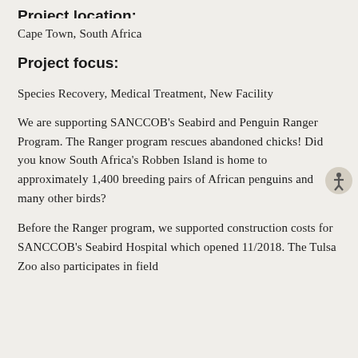Project location:
Cape Town, South Africa
Project focus:
Species Recovery, Medical Treatment, New Facility
We are supporting SANCCOB's Seabird and Penguin Ranger Program. The Ranger program rescues abandoned chicks! Did you know South Africa's Robben Island is home to approximately 1,400 breeding pairs of African penguins and many other birds?
Before the Ranger program, we supported construction costs for SANCCOB's Seabird Hospital which opened 11/2018. The Tulsa Zoo also participates in field